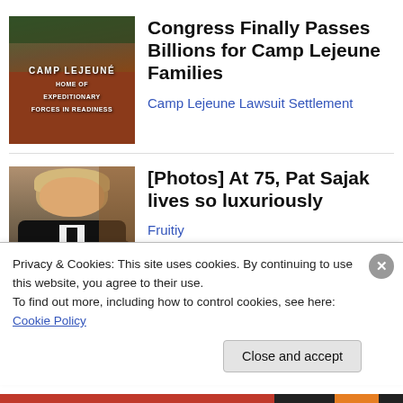[Figure (photo): Camp Lejeune entrance sign on brick wall with trees and people in background]
Congress Finally Passes Billions for Camp Lejeune Families
Camp Lejeune Lawsuit Settlement
[Figure (photo): Pat Sajak in black suit with white shirt and black tie, gesturing with hand]
[Photos] At 75, Pat Sajak lives so luxuriously
Fruitiy
Privacy & Cookies: This site uses cookies. By continuing to use this website, you agree to their use.
To find out more, including how to control cookies, see here: Cookie Policy
Close and accept